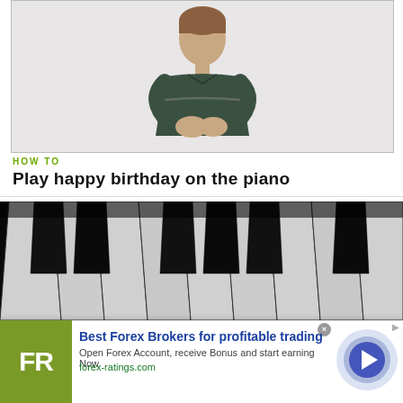[Figure (photo): Video thumbnail showing a man in a dark polo shirt gesturing with his hands against a white background]
HOW TO
Play happy birthday on the piano
[Figure (photo): Close-up photograph of piano keys (black and white keys) viewed from an angle]
Best Forex Brokers for profitable trading
Open Forex Account, receive Bonus and start earning Now
forex-ratings.com